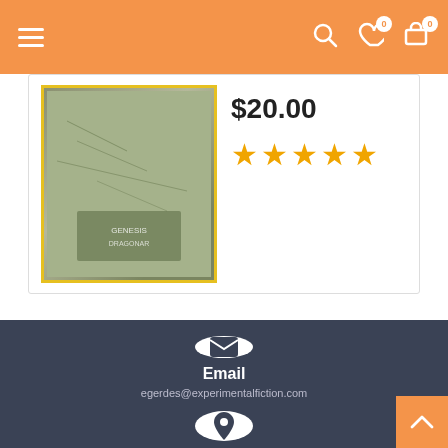[Figure (screenshot): Orange navigation header bar with hamburger menu on left and search, heart (wishlist), and cart icons on right. Heart and cart icons show 0 badge count.]
[Figure (screenshot): Product card showing a book thumbnail with yellow border on the left, price $20.00 and 4.5 star rating on the right.]
$20.00
[Figure (infographic): Dark navy footer section with email icon (envelope in white circle), Email label, egerdes@experimentalfiction.com, location pin icon in white circle, Location label, P.O. Box 6281, Aurora, IL 60598 United States. Orange back-to-top button at bottom right.]
Email
egerdes@experimentalfiction.com
Location
P.O. Box 6281, Aurora, IL 60598 United States